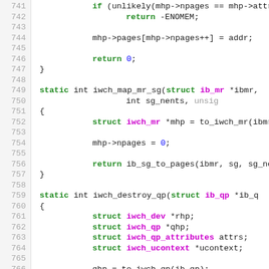[Figure (screenshot): Source code listing in C, lines 741-767, showing functions iwch_map_mr_sg and iwch_destroy_qp with syntax highlighting. Keywords in bold green, type names in magenta/pink, numeric literals in blue, line numbers in gray on left margin.]